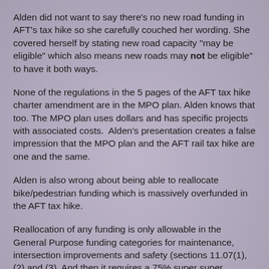Alden did not want to say there's no new road funding in AFT's tax hike so she carefully couched her wording. She covered herself by stating new road capacity "may be eligible" which also means new roads may not be eligible" to have it both ways.
None of the regulations in the 5 pages of the AFT tax hike charter amendment are in the MPO plan. Alden knows that too. The MPO plan uses dollars and has specific projects with associated costs.  Alden's presentation creates a false impression that the MPO plan and the AFT rail tax hike are one and the same.
Alden is also wrong about being able to reallocate bike/pedestrian funding which is massively overfunded in the AFT tax hike.
Reallocation of any funding is only allowable in the General Purpose funding categories for maintenance, intersection improvements and safety (sections 11.07(1), (2) and (3). And then it requires a 75% super super majority to reallocate any